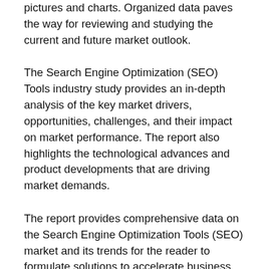pictures and charts. Organized data paves the way for reviewing and studying the current and future market outlook.
The Search Engine Optimization (SEO) Tools industry study provides an in-depth analysis of the key market drivers, opportunities, challenges, and their impact on market performance. The report also highlights the technological advances and product developments that are driving market demands.
The report provides comprehensive data on the Search Engine Optimization Tools (SEO) market and its trends for the reader to formulate solutions to accelerate business development. The report provides a comprehensive view of the economic scenario of the market along with its pros and cons.
Search Engine Optimization (SEO) Tools Market